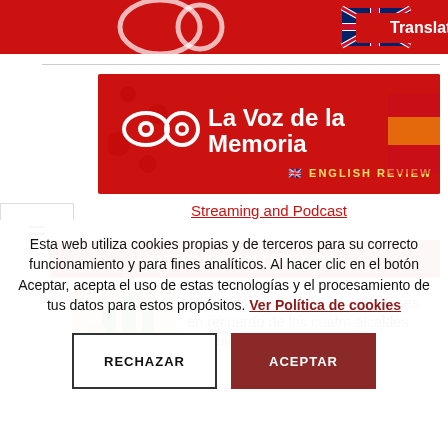[Figure (screenshot): Red banner with Translate button and UK flag]
[Figure (logo): La Voz de la Memoria - ENGLISH REVIEW logo on red background with eye icons]
Streaming and Podcast
OTROS CONTENIDOS
[Figure (photo): Thumbnail of people with green flags]
Colocados en Espera los adoquines en recuerdo de los cuatro alcaldes republicanos
Esta web utiliza cookies propias y de terceros para su correcto funcionamiento y para fines analíticos. Al hacer clic en el botón Aceptar, acepta el uso de estas tecnologías y el procesamiento de tus datos para estos propósitos. Ver Política de cookies
RECHAZAR
ACEPTAR